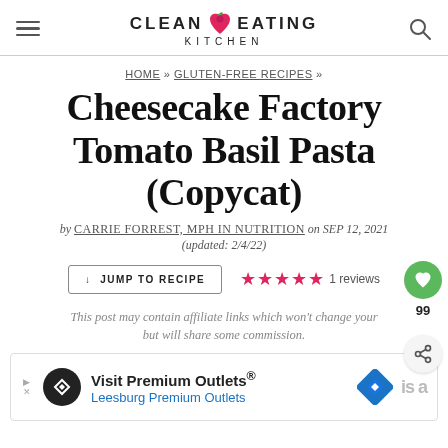CLEAN EATING KITCHEN
HOME » GLUTEN-FREE RECIPES »
Cheesecake Factory Tomato Basil Pasta (Copycat)
by CARRIE FORREST, MPH IN NUTRITION on SEP 12, 2021 (updated: 2/4/22)
↓ JUMP TO RECIPE  ★★★★★ 1 reviews  99
This post may contain affiliate links which won't change your but will share some commission.
[Figure (screenshot): Advertisement banner for Visit Premium Outlets® – Leesburg Premium Outlets with logo and navigation arrow icons]